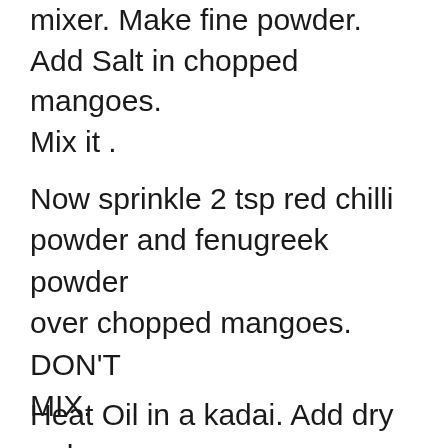mixer. Make fine powder. Add Salt in chopped mangoes. Mix it .
Now sprinkle 2 tsp red chilli powder and fenugreek powder over chopped mangoes. DON'T MIX.
Heat Oil in a kadai. Add dry red